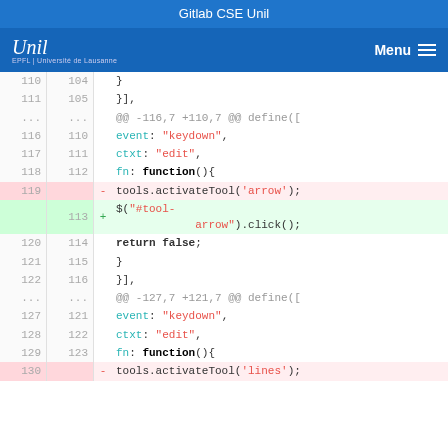Gitlab CSE Unil
[Figure (screenshot): Navigation bar with Unil logo on the left and Menu button on the right on blue background]
Code diff view showing lines 110-130 with deletions and additions in a JavaScript file
| old | new | marker | code |
| --- | --- | --- | --- |
| 110 | 104 |  | } |
| 111 | 105 |  | }], |
| ... | ... |  | @@ -116,7 +110,7 @@ define([ |
| 116 | 110 |  | event: "keydown", |
| 117 | 111 |  | ctxt: "edit", |
| 118 | 112 |  | fn: function(){ |
| 119 |  | − | tools.activateTool('arrow'); |
|  | 113 | + | $("#tool-arrow").click(); |
| 120 | 114 |  | return false; |
| 121 | 115 |  | } |
| 122 | 116 |  | }], |
| ... | ... |  | @@ -127,7 +121,7 @@ define([ |
| 127 | 121 |  | event: "keydown", |
| 128 | 122 |  | ctxt: "edit", |
| 129 | 123 |  | fn: function(){ |
| 130 |  | − | tools.activateTool('lines'); |